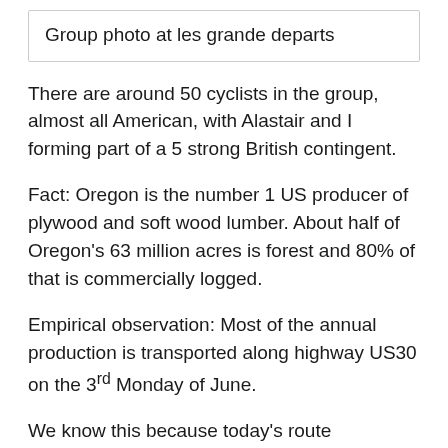Group photo at les grande departs
There are around 50 cyclists in the group, almost all American, with Alastair and I forming part of a 5 strong British contingent.
Fact: Oregon is the number 1 US producer of plywood and soft wood lumber. About half of Oregon’s 63 million acres is forest and 80% of that is commercially logged.
Empirical observation: Most of the annual production is transported along highway US30 on the 3rd Monday of June.
We know this because today’s route instructions were, broadly speaking “turn on to US30 and cycle for 68 miles, then turn into the next hotel”. So we had plenty of